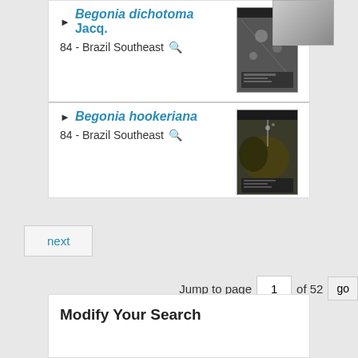[Figure (photo): Herbarium specimen photo (partial, top-right)]
Begonia dichotoma Jacq.
84 - Brazil Southeast
[Figure (photo): Herbarium specimen of Begonia dichotoma]
Begonia hookeriana
84 - Brazil Southeast
[Figure (photo): Herbarium specimen of Begonia hookeriana]
next
Jump to page 1 of 52 go
Modify Your Search